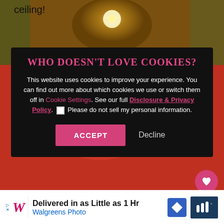ceiling!
[Figure (photo): Photo of a room interior with warm glowing ceiling lights and decorative elements]
WHO DOESN'T LOVE COOKIES?
This website uses cookies to improve your experience. You can find out more about which cookies we use or switch them off in Cookie Settings. See our full Disclosure & Privacy Policy. ☐ Please do not sell my personal information.
ACCEPT  Decline
[Figure (photo): Close-up photo of baked goods/cookies with powdered sugar on red/orange background]
WHAT'S NEXT → Charleston at Christmas:...
Delivered in as Little as 1 Hr Walgreens Photo